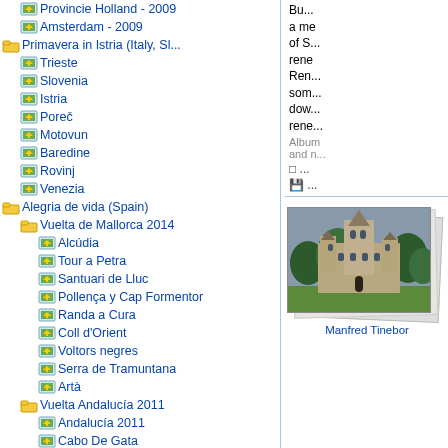Provincie Holland - 2009
Amsterdam - 2009
Primavera in Istria (Italy, Sl...
Trieste
Slovenia
Istria
Poreč
Motovun
Baredine
Rovinj
Venezia
Alegria de vida (Spain)
Vuelta de Mallorca 2014
Alcúdia
Tour a Petra
Santuari de Lluc
Pollença y Cap Formentor
Randa a Cura
Coll d'Orient
Voltors negres
Serra de Tramuntana
Artà
Vuelta Andalucía 2011
Andalucía 2011
Cabo De Gata
La cabeza del Cabo 2011
Sierra Alhamilla 2011
Sierra de los Filabres 2011
Bu... a me of S... rene Ren... som... dow... rene...
Album and n...
[Figure (photo): Photograph of a grand Neo-Gothic building with towers, surrounded by trees and green lawn. Stack of photos effect.]
Manfred Tinebor
• Da... ursp... Prin... Pyrr... 1893... San... Neo... ist d... beru...
• Th... serv... Prin...